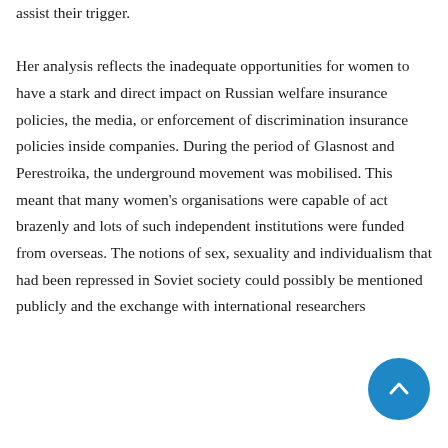assist their trigger. Her analysis reflects the inadequate opportunities for women to have a stark and direct impact on Russian welfare insurance policies, the media, or enforcement of discrimination insurance policies inside companies. During the period of Glasnost and Perestroika, the underground movement was mobilised. This meant that many women's organisations were capable of act brazenly and lots of such independent institutions were funded from overseas. The notions of sex, sexuality and individualism that had been repressed in Soviet society could possibly be mentioned publicly and the exchange with international researchers and institutions would deepen.